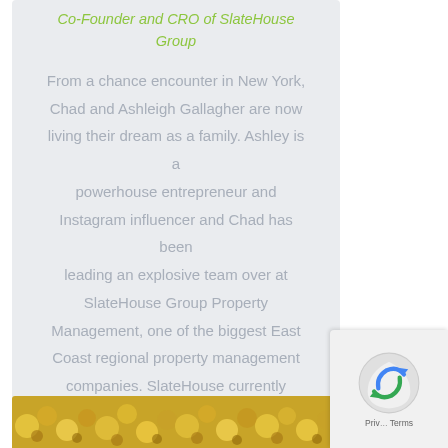Co-Founder and CRO of SlateHouse Group
From a chance encounter in New York, Chad and Ashleigh Gallagher are now living their dream as a family. Ashley is a powerhouse entrepreneur and Instagram influencer and Chad has been leading an explosive team over at SlateHouse Group Property Management, one of the biggest East Coast regional property management companies. SlateHouse currently manages over 7,000 units across the Mid Atlantic, SouthEast, and Southwest with local offices throughout.
[Figure (photo): Bottom strip showing yellow flowers/floral arrangement, partially visible]